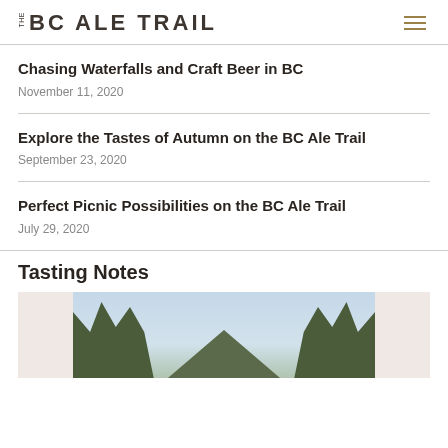THE BC ALE TRAIL
Chasing Waterfalls and Craft Beer in BC
November 11, 2020
Explore the Tastes of Autumn on the BC Ale Trail
September 23, 2020
Perfect Picnic Possibilities on the BC Ale Trail
July 29, 2020
Tasting Notes
[Figure (photo): Outdoor scenic photo showing trees and sky, partially visible, with light pink/beige borders on the sides]